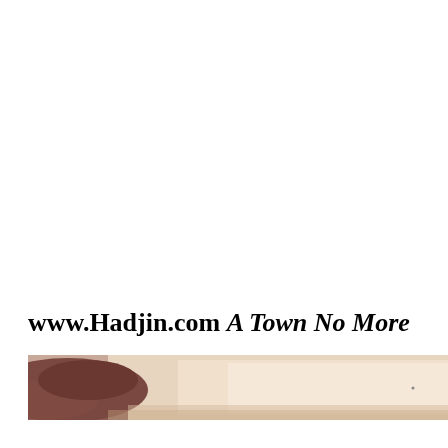www.Hadjin.com A Town No More
[Figure (photo): A wide panoramic landscape photograph showing rocky terrain with muted earth tones — sandy beige in the center transitioning to dark reddish-brown rocky formations on left and right edges.]